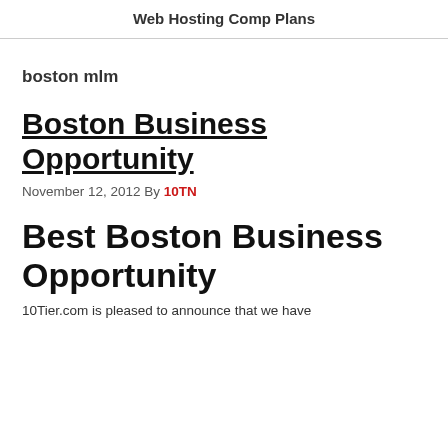Web Hosting Comp Plans
boston mlm
Boston Business Opportunity
November 12, 2012 By 10TN
Best Boston Business Opportunity
10Tier.com is pleased to announce that we have